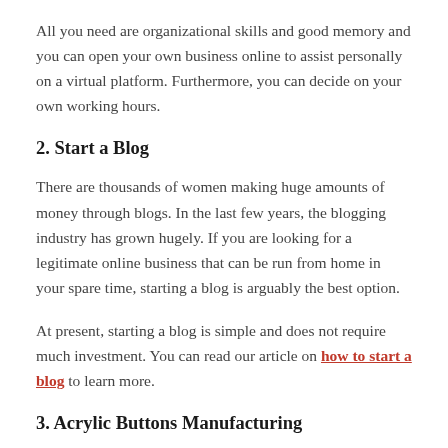All you need are organizational skills and good memory and you can open your own business online to assist personally on a virtual platform. Furthermore, you can decide on your own working hours.
2. Start a Blog
There are thousands of women making huge amounts of money through blogs. In the last few years, the blogging industry has grown hugely. If you are looking for a legitimate online business that can be run from home in your spare time, starting a blog is arguably the best option.
At present, starting a blog is simple and does not require much investment. You can read our article on how to start a blog to learn more.
3. Acrylic Buttons Manufacturing